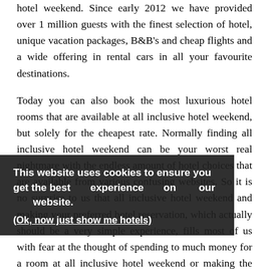hotel weekend. Since early 2012 we have provided over 1 million guests with the finest selection of hotel, unique vacation packages, B&B's and cheap flights and a wide offering in rental cars in all your favourite destinations.
Today you can also book the most luxurious hotel rooms that are available at all inclusive hotel weekend, but solely for the cheapest rate. Normally finding all inclusive hotel weekend can be your worst real nightmare with the endless amount of hotel choices that are available from various confusing websites. So it is no surprise to us that all inclusive hotel weekend and making your preferred hotel reservation, which actually should be a very simple experience, fills most of us with fear at the thought of spending to much money for a room at all inclusive hotel weekend or making the wrong room choice and eventually ending up paying way too much. But now, with this all inclusive hotel weekend you do not have to worry anymore; booking a room at all inclusive hotel weekend has become an absolute joy once
This website uses cookies to ensure you get the best experience on our website.
(Ok, now just show me hotels)
Proceed